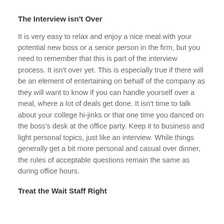The Interview isn't Over
It is very easy to relax and enjoy a nice meal with your potential new boss or a senior person in the firm, but you need to remember that this is part of the interview process.  It isn't over yet.  This is especially true if there will be an element of entertaining on behalf of the company as they will want to know if you can handle yourself over a meal, where a lot of deals get done.  It isn't time to talk about your college hi-jinks or that one time you danced on the boss's desk at the office party.  Keep it to business and light personal topics, just like an interview. While things generally get a bit more personal and casual over dinner, the rules of acceptable questions remain the same as during office hours.
Treat the Wait Staff Right